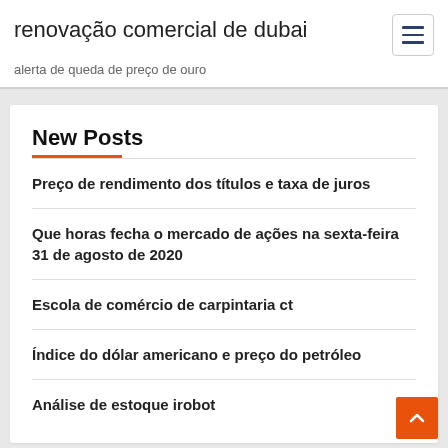renovação comercial de dubai
alerta de queda de preço de ouro
New Posts
Preço de rendimento dos títulos e taxa de juros
Que horas fecha o mercado de ações na sexta-feira 31 de agosto de 2020
Escola de comércio de carpintaria ct
Índice do dólar americano e preço do petróleo
Análise de estoque irobot